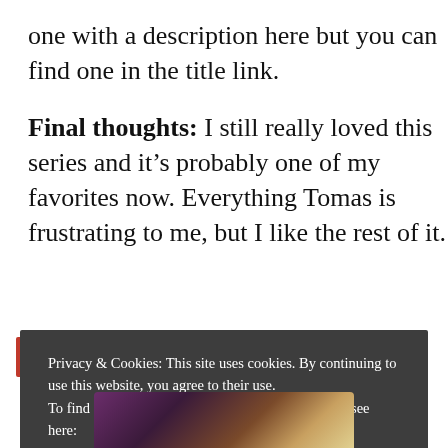one with a description here but you can find one in the title link.
Final thoughts: I still really loved this series and it’s probably one of my favorites now. Everything Tomas is frustrating to me, but I like the rest of it.
Privacy & Cookies: This site uses cookies. By continuing to use this website, you agree to their use.
To find out more, including how to control cookies, see here: Cookie Policy
CLOSE AND ACCEPT